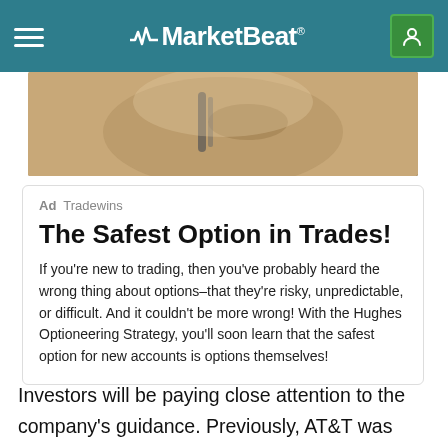MarketBeat
[Figure (photo): Close-up photo of a hand holding keys or a pen, partial view from top]
Ad  Tradewins
The Safest Option in Trades!
If you're new to trading, then you've probably heard the wrong thing about options–that they're risky, unpredictable, or difficult. And it couldn't be more wrong! With the Hughes Optioneering Strategy, you'll soon learn that the safest option for new accounts is options themselves!
Investors will be paying close attention to the company's guidance. Previously, AT&T was forecasting between 67 million and 70 million subscribers by the end of 2021. What will be driving this growth in the